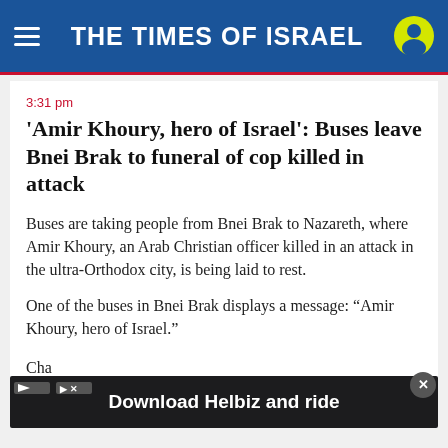THE TIMES OF ISRAEL
3:31 pm
'Amir Khoury, hero of Israel': Buses leave Bnei Brak to funeral of cop killed in attack
Buses are taking people from Bnei Brak to Nazareth, where Amir Khoury, an Arab Christian officer killed in an attack in the ultra-Orthodox city, is being laid to rest.
One of the buses in Bnei Brak displays a message: “Amir Khoury, hero of Israel.”
Cha... Orth...
[Figure (screenshot): Advertisement banner: Download Helbiz and ride, overlaying the bottom of the article with a close button (x) and ad indicator icons]